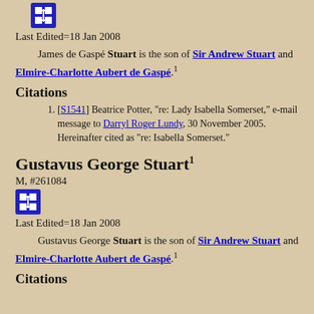[Figure (other): Blue icon button with network/link symbol]
Last Edited=18 Jan 2008
James de Gaspé Stuart is the son of Sir Andrew Stuart and Elmire-Charlotte Aubert de Gaspé.1
Citations
[S1541] Beatrice Potter, "re: Lady Isabella Somerset," e-mail message to Darryl Roger Lundy, 30 November 2005. Hereinafter cited as "re: Isabella Somerset."
Gustavus George Stuart1
M, #261084
[Figure (other): Blue icon button with network/link symbol]
Last Edited=18 Jan 2008
Gustavus George Stuart is the son of Sir Andrew Stuart and Elmire-Charlotte Aubert de Gaspé.1
Citations